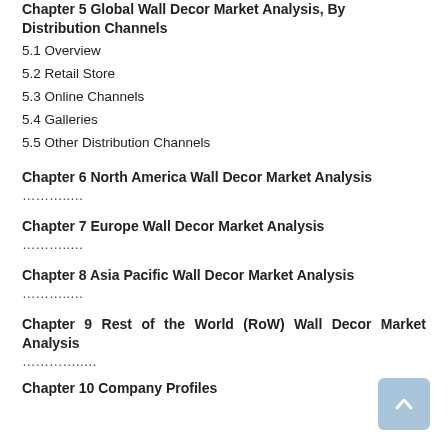Chapter 5 Global Wall Decor Market Analysis, By Distribution Channels
5.1 Overview
5.2 Retail Store
5.3 Online Channels
5.4 Galleries
5.5 Other Distribution Channels
Chapter 6 North America Wall Decor Market Analysis
………..
Chapter 7 Europe Wall Decor Market Analysis
………..
Chapter 8 Asia Pacific Wall Decor Market Analysis
………..
Chapter 9 Rest of the World (RoW) Wall Decor Market Analysis
………..
Chapter 10 Company Profiles